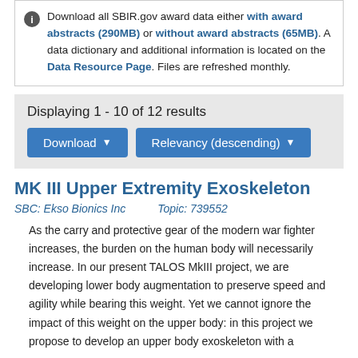Download all SBIR.gov award data either with award abstracts (290MB) or without award abstracts (65MB). A data dictionary and additional information is located on the Data Resource Page. Files are refreshed monthly.
Displaying 1 - 10 of 12 results
MK III Upper Extremity Exoskeleton
SBC: Ekso Bionics Inc    Topic: 739552
As the carry and protective gear of the modern war fighter increases, the burden on the human body will necessarily increase. In our present TALOS MkIII project, we are developing lower body augmentation to preserve speed and agility while bearing this weight. Yet we cannot ignore the impact of this weight on the upper body: in this project we propose to develop an upper body exoskeleton with a...